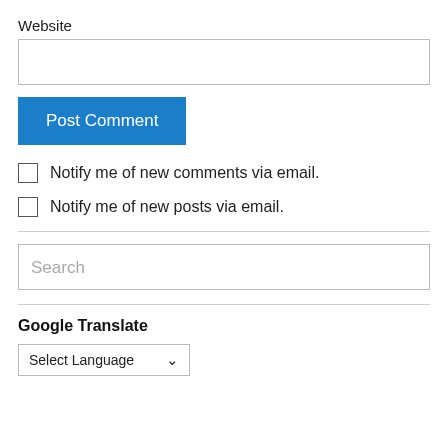Website
[Figure (screenshot): Text input field for website URL]
[Figure (screenshot): Blue 'Post Comment' button]
Notify me of new comments via email.
Notify me of new posts via email.
[Figure (screenshot): Search input field with placeholder text 'Search']
Google Translate
[Figure (screenshot): Select Language dropdown]